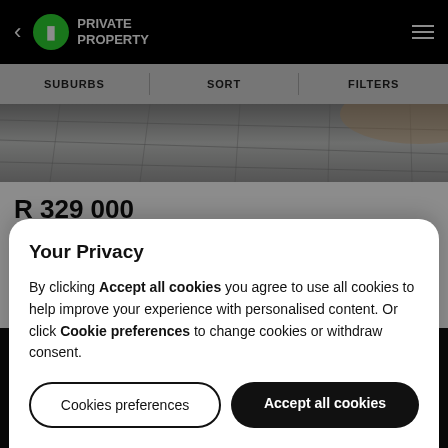< PRIVATE PROPERTY
SUBURBS | SORT | FILTERS
[Figure (photo): Tiled floor interior photo used as property listing image]
R 329 000
Bachelor
Arcadia
Your Privacy
By clicking Accept all cookies you agree to use all cookies to help improve your experience with personalised content. Or click Cookie preferences to change cookies or withdraw consent.
Cookies preferences | Accept all cookies
Rights Reserved.